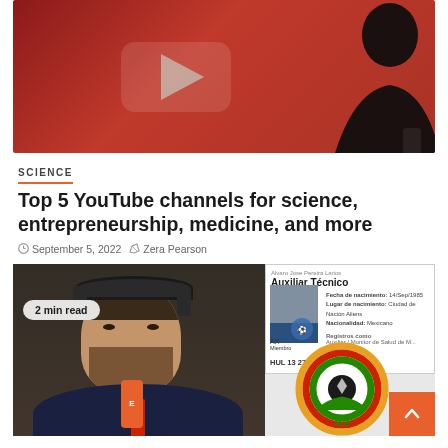[Figure (photo): Hero image showing a silhouette of a person against a red YouTube logo background]
SCIENCE
Top 5 YouTube channels for science, entrepreneurship, medicine, and more
September 5, 2022   Zera Pearson
[Figure (photo): Photo of a bearded man with headphones holding a microphone (ESPN branded), overlaid with a credential card reading 'Auxiliar Técnico' with photo ID details and number HUL 13 2733, plus a football federation logo circle at bottom right. A '2 min read' badge overlays the photo. An orange scroll-to-top button is visible at bottom right.]